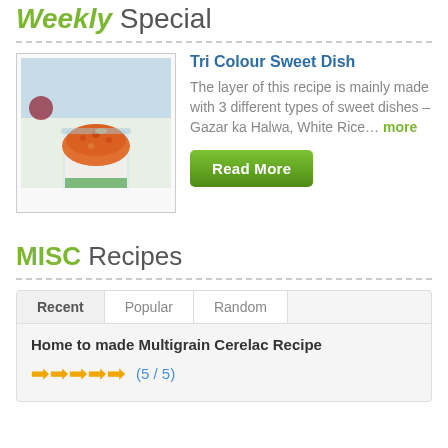Weekly Special
[Figure (photo): A glass cup dessert with orange Gazar ka Halwa on top, white rice layer in middle, and green layer at bottom, served on a white cloth.]
Tri Colour Sweet Dish
The layer of this recipe is mainly made with 3 different types of sweet dishes – Gazar ka Halwa, White Rice... more
Read More
MISC Recipes
Recent | Popular | Random
Home to made Multigrain Cerelac Recipe
\\\\\  (5 / 5)